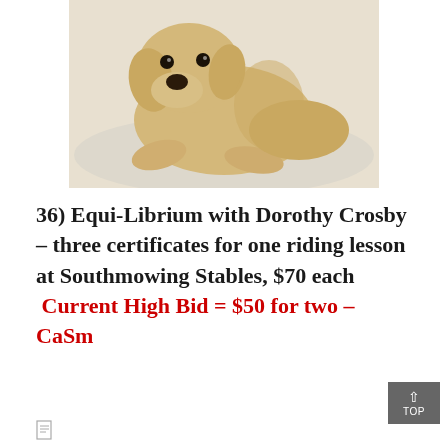[Figure (photo): A stuffed animal toy resembling a golden Labrador puppy lying on a light-colored surface]
36) Equi-Librium with Dorothy Crosby – three certificates for one riding lesson at Southmowing Stables, $70 each  Current High Bid = $50 for two – CaSm